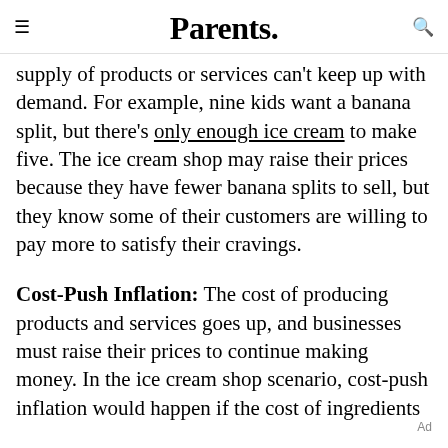Parents.
supply of products or services can't keep up with demand. For example, nine kids want a banana split, but there's only enough ice cream to make five. The ice cream shop may raise their prices because they have fewer banana splits to sell, but they know some of their customers are willing to pay more to satisfy their cravings.
Cost-Push Inflation: The cost of producing products and services goes up, and businesses must raise their prices to continue making money. In the ice cream shop scenario, cost-push inflation would happen if the cost of ingredients